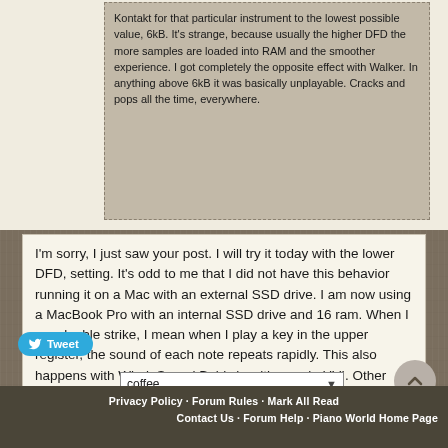Kontakt for that particular instrument to the lowest possible value, 6kB. It's strange, because usually the higher DFD the more samples are loaded into RAM and the smoother experience. I got completely the opposite effect with Walker. In anything above 6kB it was basically unplayable. Cracks and pops all the time, everywhere.
I'm sorry, I just saw your post. I will try it today with the lower DFD, setting. It's odd to me that I did not have this behavior running it on a Mac with an external SSD drive. I am now using a MacBook Pro with an internal SSD drive and 16 ram. When I say double strike, I mean when I play a key in the upper register, the sound of each note repeats rapidly. This also happens with WholeSound Baldwin with runs in UVI. Other VST's, IVLabs and Garritan do not this problem.
Tweet
coffee
Privacy Policy · Forum Rules · Mark All Read
Contact Us · Forum Help · Piano World Home Page